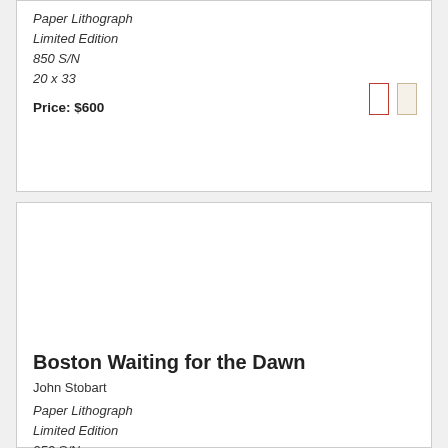Paper Lithograph
Limited Edition
850 S/N
20 x 33
Price: $600
[Figure (illustration): Two small thumbnail color swatches: one with a red border and one with a cream/beige background]
Boston Waiting for the Dawn
John Stobart
Paper Lithograph
Limited Edition
950 S/N